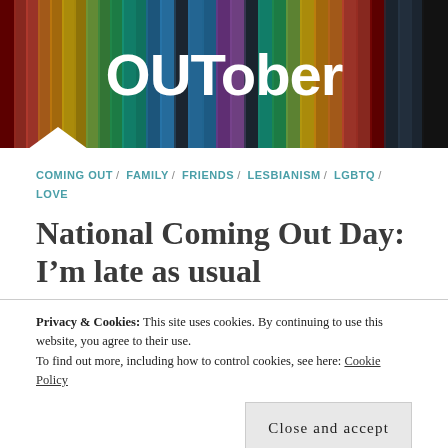[Figure (illustration): OUTober blog header banner with rainbow vertical light streaks on dark background and 'OUTober' text in white bold font]
COMING OUT / FAMILY / FRIENDS / LESBIANISM / LGBTQ / LOVE
National Coming Out Day: I'm late as usual
Privacy & Cookies: This site uses cookies. By continuing to use this website, you agree to their use.
To find out more, including how to control cookies, see here: Cookie Policy
Close and accept
In middle school, I fell in love with my straight best